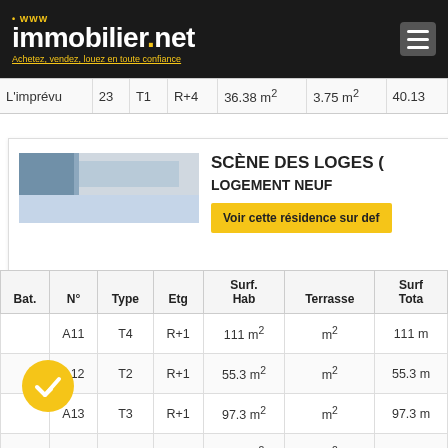www immobilier.net — Achetez, vendez, louez en toute confiance
| L'imprévu | 23 | T1 | R+4 | 36.38 m² | 3.75 m² | 40.13 |
[Figure (photo): Thumbnail image of a building/residence]
SCÈNE DES LOGES (
LOGEMENT NEUF
Voir cette résidence sur def
| Bat. | N° | Type | Etg | Surf. Hab | Terrasse | Surf. Tota |
| --- | --- | --- | --- | --- | --- | --- |
|  | A11 | T4 | R+1 | 111 m² | m² | 111 m |
|  | A12 | T2 | R+1 | 55.3 m² | m² | 55.3 m |
|  | A13 | T3 | R+1 | 97.3 m² | m² | 97.3 m |
|  | A21 | T4 | R+2 | 111 m² | m² | 111 |